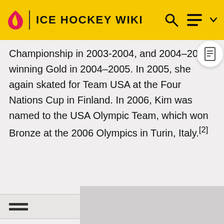ICE HOCKEY WIKI
Championship in 2003-2004, and 2004–2005, winning Gold in 2004–2005. In 2005, she again skated for Team USA at the Four Nations Cup in Finland. In 2006, Kim was named to the USA Olympic Team, which won Bronze at the 2006 Olympics in Turin, Italy.[2]
1. ↑ http://www.oakvilleice.net/Oakville_ICE_Development.pdf
[Figure (other): Gray image placeholder at bottom of page]